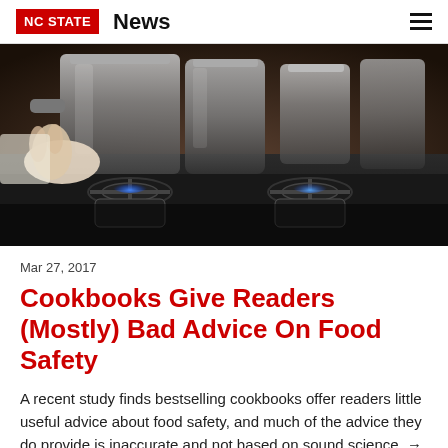NC STATE  News
[Figure (photo): A person's hand adjusting a knob on a gas stove with stainless steel pots in the background. The stove burners show blue flames.]
Mar 27, 2017
Cookbooks Give Readers (Mostly) Bad Advice On Food Safety
A recent study finds bestselling cookbooks offer readers little useful advice about food safety, and much of the advice they do provide is inaccurate and not based on sound science. →